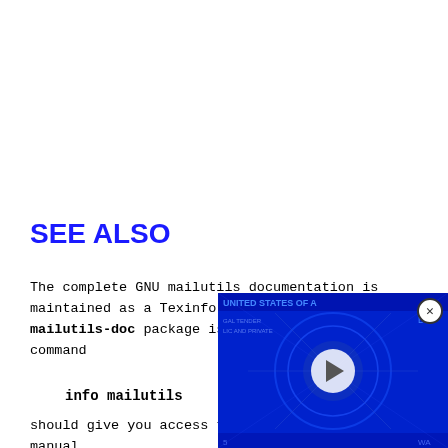SEE ALSO
The complete GNU mailutils documentation is maintained as a Texinfo manual. If the mailutils-doc package is installed, the command
info mailutils
should give you access to the complete manual.
You can also find this m
[Figure (screenshot): Video overlay showing a blue-tinted US dollar bill with a play button, partially covering the bottom-right of the page. Has a close (X) button in the top-right corner.]